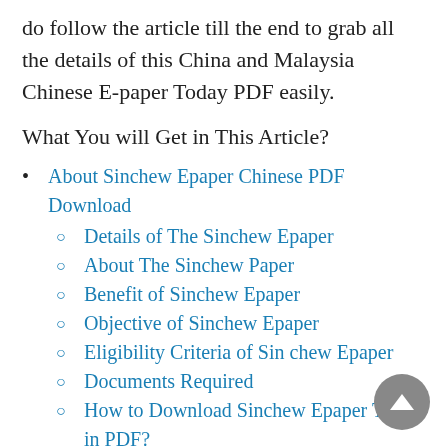do follow the article till the end to grab all the details of this China and Malaysia Chinese E-paper Today PDF easily.
What You will Get in This Article?
About Sinchew Epaper Chinese PDF Download
Details of The Sinchew Epaper
About The Sinchew Paper
Benefit of Sinchew Epaper
Objective of Sinchew Epaper
Eligibility Criteria of Sin chew Epaper
Documents Required
How to Download Sinchew Epaper Today in PDF?
How to Download the Sinchew Epaper from Downloading Link?